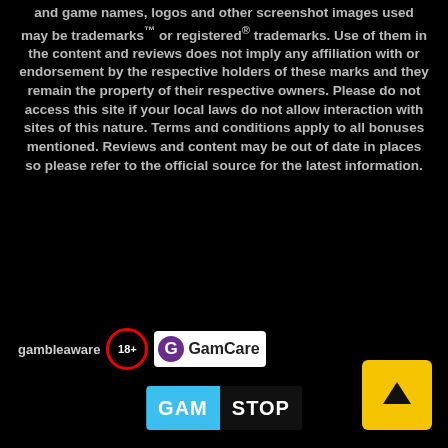and game names, logos and other screenshot images used may be trademarks™ or registered® trademarks. Use of them in the content and reviews does not imply any affiliation with or endorsement by the respective holders of these marks and they remain the property of their respective owners. Please do not access this site if your local laws do not allow interaction with sites of this nature. Terms and conditions apply to all bonuses mentioned. Reviews and content may be out of date in places so please refer to the official source for the latest information.
[Figure (logo): Row of responsible gambling logos: gambleaware text, 18+ badge, GamCare logo, and GamStop logo. Also an up-arrow button in yellow.]